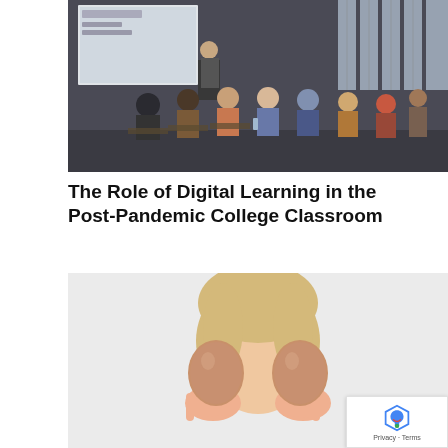[Figure (photo): A college classroom scene with a professor standing at the front near a projected screen, students seated at desks viewed from behind, tall windows in background.]
The Role of Digital Learning in the Post-Pandemic College Classroom
[Figure (photo): A young blonde child holding two brown eggs in front of their face, covering their eyes, against a light gray background.]